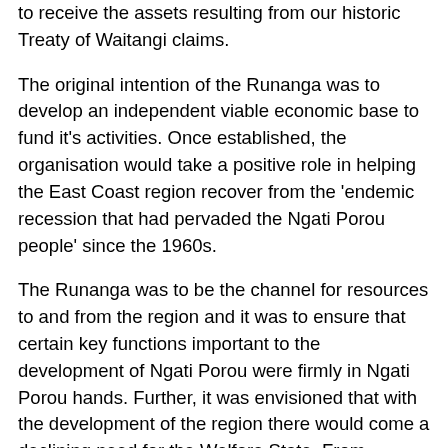to receive the assets resulting from our historic Treaty of Waitangi claims.
The original intention of the Runanga was to develop an independent viable economic base to fund it's activities. Once established, the organisation would take a positive role in helping the East Coast region recover from the 'endemic recession that had pervaded the Ngati Porou people' since the 1960s.
The Runanga was to be the channel for resources to and from the region and it was to ensure that certain key functions important to the development of Ngati Porou were firmly in Ngati Porou hands. Further, it was envisioned that with the development of the region there would come a declining need for the Welfare State. From January 1986, eighteen interim trustees, who 'for administrative convenience' were nominated to represent the interests of four rohe, met regularly guided by the following kaupapa:
The trustees priorities highlight the financial constraints they